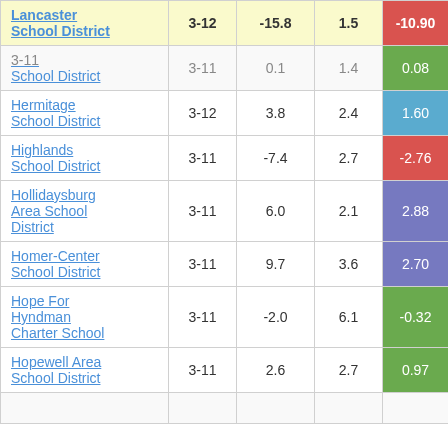| School District | Grades | Change | SD | Score |
| --- | --- | --- | --- | --- |
| Lancaster School District | 3-12 | -15.8 | 1.5 | -10.90 |
| School District | 3-11 | 0.1 | 1.4 | 0.08 |
| Hermitage School District | 3-12 | 3.8 | 2.4 | 1.60 |
| Highlands School District | 3-11 | -7.4 | 2.7 | -2.76 |
| Hollidaysburg Area School District | 3-11 | 6.0 | 2.1 | 2.88 |
| Homer-Center School District | 3-11 | 9.7 | 3.6 | 2.70 |
| Hope For Hyndman Charter School | 3-11 | -2.0 | 6.1 | -0.32 |
| Hopewell Area School District | 3-11 | 2.6 | 2.7 | 0.97 |